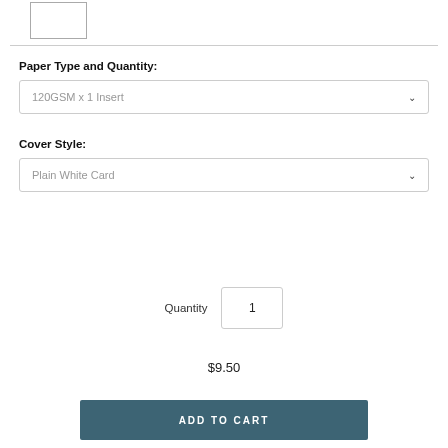[Figure (other): Small white rectangle thumbnail image placeholder]
Paper Type and Quantity:
120GSM x 1 Insert
Cover Style:
Plain White Card
Quantity  1
$9.50
ADD TO CART